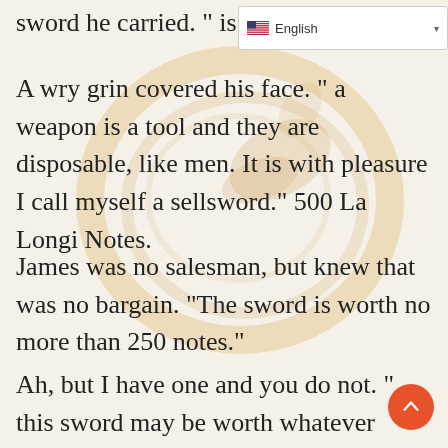sword he carried. " is you  English
A wry grin covered his face. " a weapon is a tool and they are disposable, like men. It is with pleasure I call myself a sellsword.” 500 La Longi Notes.
James was no salesman, but knew that was no bargain. “The sword is worth no more than 250 notes.”
Ah, but I have one and you do not. " this sword may be worth whatever your life i you.”